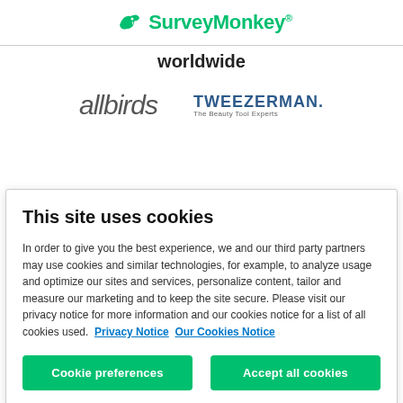[Figure (logo): SurveyMonkey logo with green parrot icon and green text]
worldwide
[Figure (logo): Allbirds script logo and Tweezerman The Beauty Tool Experts logo]
This site uses cookies
In order to give you the best experience, we and our third party partners may use cookies and similar technologies, for example, to analyze usage and optimize our sites and services, personalize content, tailor and measure our marketing and to keep the site secure. Please visit our privacy notice for more information and our cookies notice for a list of all cookies used.  Privacy Notice  Our Cookies Notice
Cookie preferences
Accept all cookies